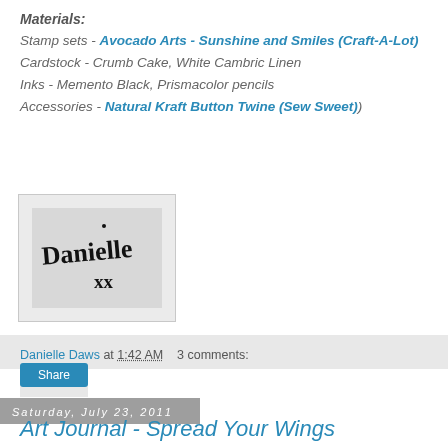Materials:
Stamp sets - Avocado Arts - Sunshine and Smiles (Craft-A-Lot)
Cardstock - Crumb Cake, White Cambric Linen
Inks - Memento Black, Prismacolor pencils
Accessories - Natural Kraft Button Twine (Sew Sweet)
[Figure (other): Handwritten signature reading 'Danielle xx' in black script on a grey background]
Danielle Daws at 1:42 AM   3 comments:
Share
Saturday, July 23, 2011
Art Journal - Spread Your Wings